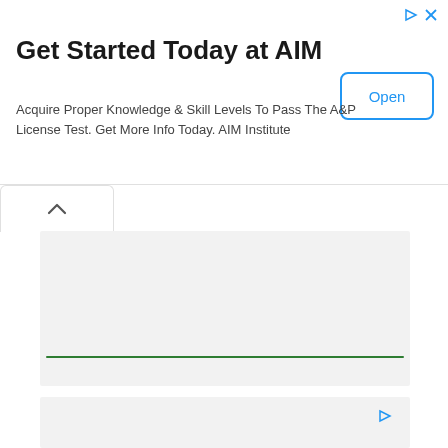Get Started Today at AIM
Acquire Proper Knowledge & Skill Levels To Pass The A&P License Test. Get More Info Today. AIM Institute
[Figure (screenshot): Ad banner with Open button and AdChoices icon]
[Figure (screenshot): Collapsed content area with green underline separator]
[Figure (screenshot): Second content area with AdChoices icon]